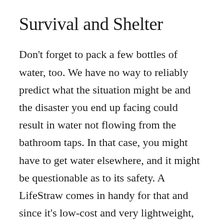Survival and Shelter
Don't forget to pack a few bottles of water, too. We have no way to reliably predict what the situation might be and the disaster you end up facing could result in water not flowing from the bathroom taps. In that case, you might have to get water elsewhere, and it might be questionable as to its safety. A LifeStraw comes in handy for that and since it's low-cost and very lightweight, you could easily keep it stored in a desk drawer. The Sawyer Water Filtration System is also